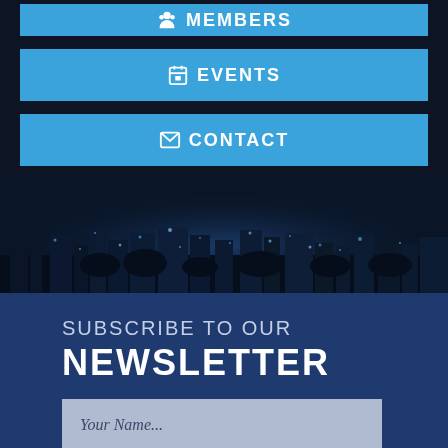[Figure (screenshot): Navigation bar with MEMBERS button in blue]
[Figure (screenshot): Navigation bar with EVENTS button in blue with calendar icon]
[Figure (screenshot): Navigation bar with CONTACT button in blue with envelope icon]
[Figure (photo): Night city skyline background image with dark blue tones and city lights]
SUBSCRIBE TO OUR NEWSLETTER
Your Name...
Email Address...